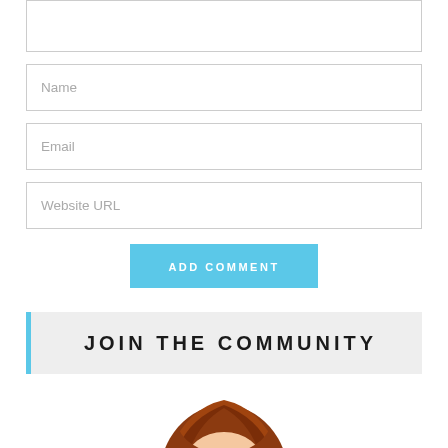Name
Email
Website URL
ADD COMMENT
JOIN THE COMMUNITY
[Figure (illustration): Partial illustration of an anime-style character with auburn/brown hair, shown from roughly the shoulders/head area, cropped at the bottom of the page.]